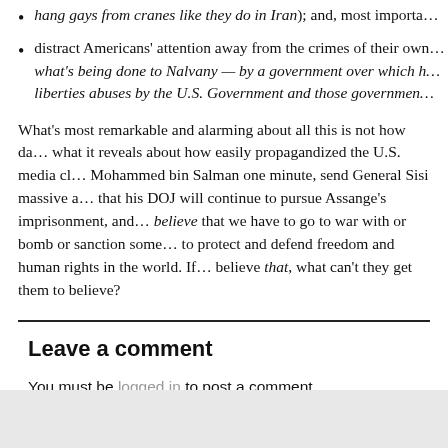hang gays from cranes like they do in Iran); and, most importa…
distract Americans' attention away from the crimes of their own… what's being done to Nalvany — by a government over which h… liberties abuses by the U.S. Government and those governmen…
What's most remarkable and alarming about all this is not how da… what it reveals about how easily propagandized the U.S. media cl… Mohammed bin Salman one minute, send General Sisi massive a… that his DOJ will continue to pursue Assange's imprisonment, and… believe that we have to go to war with or bomb or sanction some… to protect and defend freedom and human rights in the world. If… believe that, what can't they get them to believe?
Leave a comment
You must be logged in to post a comment.